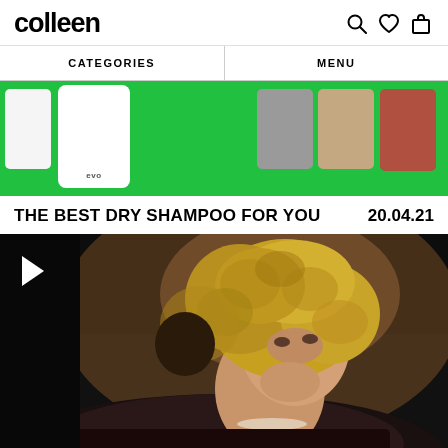colleen
CATEGORIES   MENU
[Figure (photo): Partial green-background promotional banner showing multiple hair care product containers (evo brand and others) against a bright green background]
THE BEST DRY SHAMPOO FOR YOU   20.04.21
[Figure (photo): A blonde woman with voluminous curly hair wearing a black lace top, looking upward, with a white triangle play button overlay in the upper-left corner of the image]